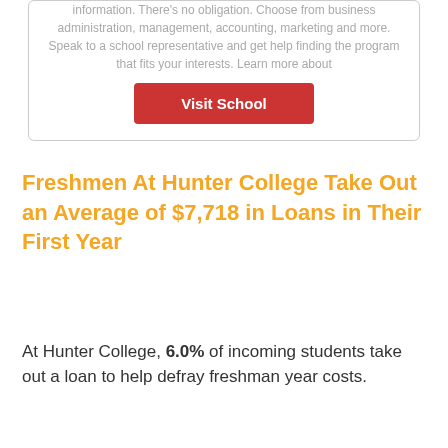information. There's no obligation. Choose from business administration, management, accounting, marketing and more. Speak to a school representative and get help finding the program that fits your interests. Learn more about
Visit School
Freshmen At Hunter College Take Out an Average of $7,718 in Loans in Their First Year
At Hunter College, 6.0% of incoming students take out a loan to help defray freshman year costs.